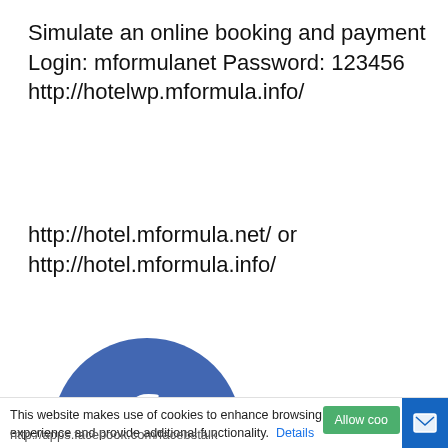Simulate an online booking and payment
Login: mformulanet Password: 123456
http://hotelwp.mformula.info/
http://hotel.mformula.net/ or
http://hotel.mformula.info/
[Figure (logo): Facebook logo circle (blue) with WhatsApp logo circle (green) overlapping at bottom-left]
This website makes use of cookies to enhance browsing experience and provide additional functionality. Details
http://apps.facebook.com/facebstalk
Allow coo